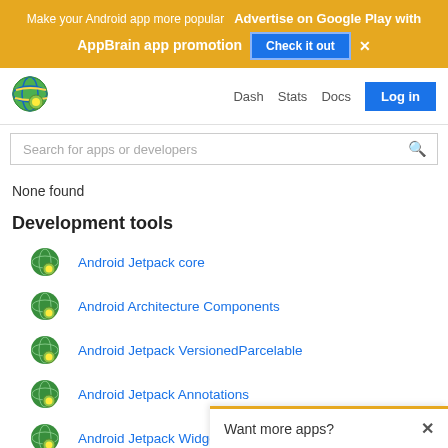Make your Android app more popular  Advertise on Google Play with AppBrain app promotion  Check it out  ×
Dash  Stats  Docs  Log in
Search for apps or developers
None found
Development tools
Android Jetpack core
Android Architecture Components
Android Jetpack VersionedParcelable
Android Jetpack Annotations
Android Jetpack Widgets
Android Jetpack AppCompat
Androi...
Want more apps?  ×